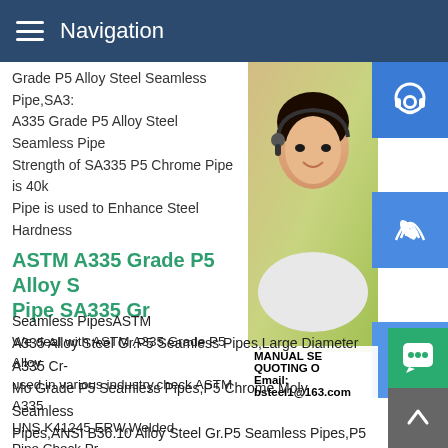Navigation
Grade P5 Alloy Steel Seamless Pipe,SA3... A335 Grade P5 Alloy Steel Seamless Pipe Strength of SA335 P5 Chrome Pipe is 40k Pipe is used to Enhance Steel Hardness
ASTM A335 Grade P5 Alloy S Pipe SA335 Gr
We deal with ASTM A335 Grade P5 Alloy used in various industry,check ASTM A33... UNS K41245 ERW,Welded Pipe,Check Pr... GrASTM / ASME SA335 Gr.P5 Alloy Steel Seamless PipesASTM A335 Alloy Steel Gr.P5 Seamless Pipes,Large Diameter A335 Cr-Mo Grade P5 Seamless Pipes,P5 Chrome Moly Seamless Pipes,ANSI B36.10 Alloy Steel Gr.P5 Seamless Pipes,P5 Chromium Molybdenum Steel Seamless Pipe,ASME SA335 A... Steel Grade P5 Round Pipes,Seamless SA335 Alloy Steel P5
[Figure (photo): Customer service representative woman with headset, with blue icon buttons for headset, phone, and Skype on the right side]
MANUAL SE... QUOTING O... Email: bsteel1@163.com